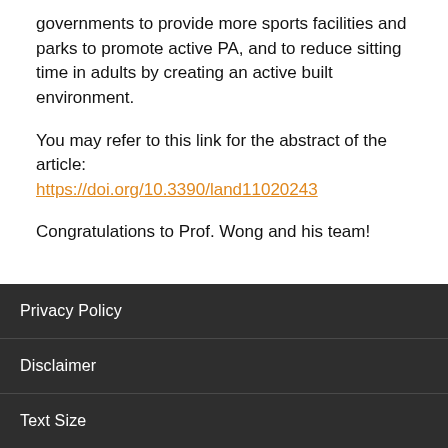governments to provide more sports facilities and parks to promote active PA, and to reduce sitting time in adults by creating an active built environment.
You may refer to this link for the abstract of the article: https://doi.org/10.3390/land11020243
Congratulations to Prof. Wong and his team!
Privacy Policy
Disclaimer
Text Size